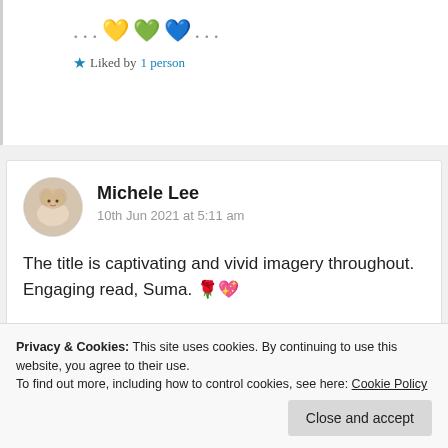... 💛💚💙 ...
★ Liked by 1 person
Michele Lee
10th Jun 2021 at 5:11 am
The title is captivating and vivid imagery throughout. Engaging read, Suma. 🌹💖
★ Liked by 2 people
Log in to Reply
Privacy & Cookies: This site uses cookies. By continuing to use this website, you agree to their use. To find out more, including how to control cookies, see here: Cookie Policy
Close and accept
Suma Reddy